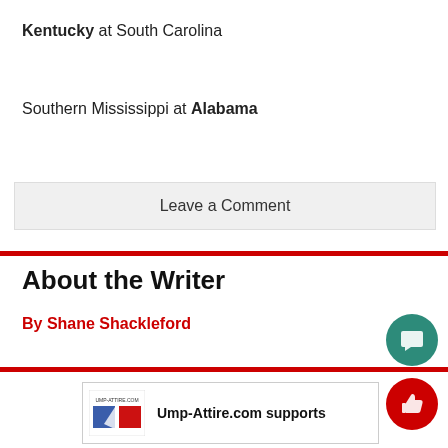Kentucky at South Carolina
Southern Mississippi at Alabama
Leave a Comment
About the Writer
By Shane Shackleford
[Figure (other): Ump-Attire.com advertisement with logo and text 'Ump-Attire.com supports']